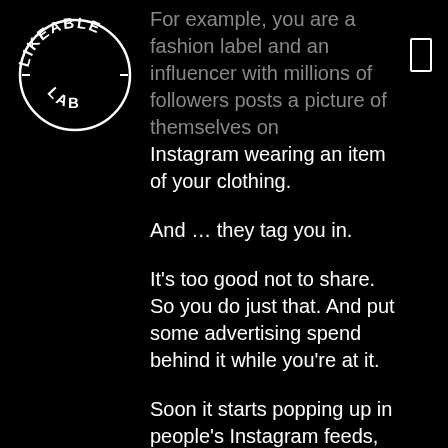[Figure (logo): Likeable Lab circular logo with text 'LIKEABLE' arched on top and 'LAB' at the bottom, white on black background]
For example, you are a fashion label and an influencer with millions of followers posts a picture of themselves on Instagram wearing an item of your clothing.

And … they tag you in.

It's too good not to share. So you do just that. And put some advertising spend behind it while you're at it.

Soon it starts popping up in people's Instagram feeds, as a powerful endorsement of your brand.

You will need buy-in from your influencer in that they agree to...